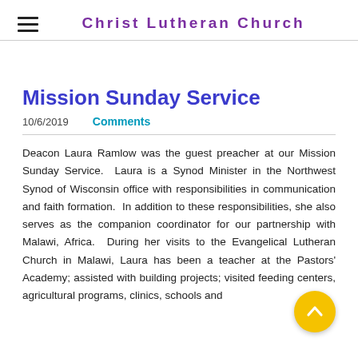Christ Lutheran Church
Mission Sunday Service
10/6/2019   Comments
Deacon Laura Ramlow was the guest preacher at our Mission Sunday Service.  Laura is a Synod Minister in the Northwest Synod of Wisconsin office with responsibilities in communication and faith formation.  In addition to these responsibilities, she also serves as the companion coordinator for our partnership with Malawi, Africa.  During her visits to the Evangelical Lutheran Church in Malawi, Laura has been a teacher at the Pastors' Academy; assisted with building projects; visited feeding centers, agricultural programs, clinics, schools and